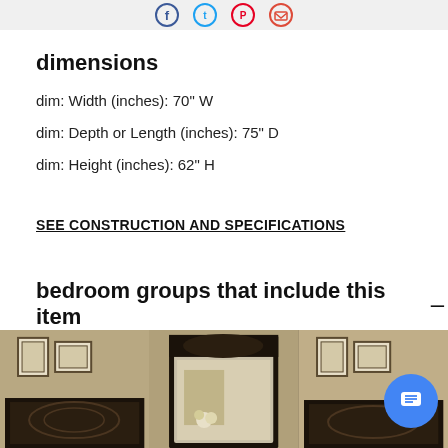[Figure (other): Top social sharing icons bar with Facebook (blue), Twitter (light blue), Pinterest (red), and email (red-orange) circular icon buttons on a light gray background]
dimensions
dim: Width (inches): 70" W
dim: Depth or Length (inches): 75" D
dim: Height (inches): 62" H
SEE CONSTRUCTION AND SPECIFICATIONS
bedroom groups that include this item
[Figure (photo): Three bedroom furniture photos side by side at the bottom of the page showing dark ornate bedroom sets with a blue chat bubble overlay on the right image]